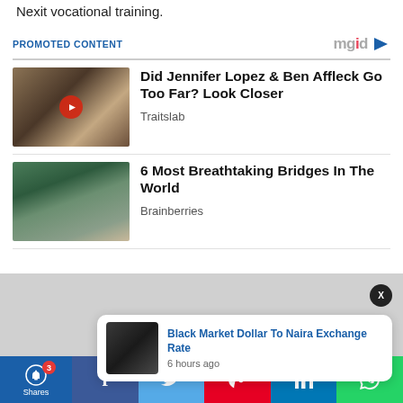Nexit vocational training.
PROMOTED CONTENT
[Figure (photo): Thumbnail image of Jennifer Lopez and Ben Affleck with a red play button overlay]
Did Jennifer Lopez & Ben Affleck Go Too Far? Look Closer
Traitslab
[Figure (photo): Thumbnail image of a scenic bridge (Golden Bridge in Vietnam) held by giant stone hands]
6 Most Breathtaking Bridges In The World
Brainberries
[Figure (photo): Notification popup with thumbnail of currency/naira notes]
Black Market Dollar To Naira Exchange Rate
6 hours ago